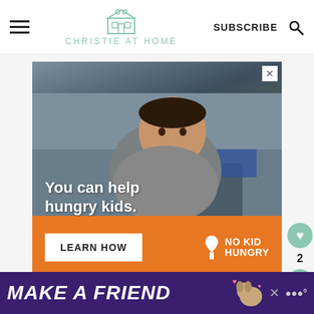CHRISTIE AT HOME — with hamburger menu, subscribe, and search icons
[Figure (photo): Advertisement showing a young Asian boy eating a berry in a classroom setting, overlaid with text 'You can help hungry kids.' and a No Kid Hungry branded orange call-to-action bar with 'LEARN HOW' button]
[Figure (screenshot): Bottom banner advertisement with purple background showing 'MAKE A FRIEND' text in white italic bold font with a dog image and heart icons, plus a close button and weather icon]